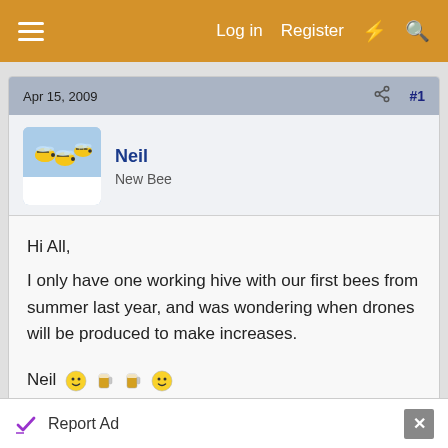Log in  Register
Apr 15, 2009  #1
Neil
New Bee
Hi All,
I only have one working hive with our first bees from summer last year, and was wondering when drones will be produced to make increases.

Neil 🙂🍺🍺🙂
Advertisement
Report Ad